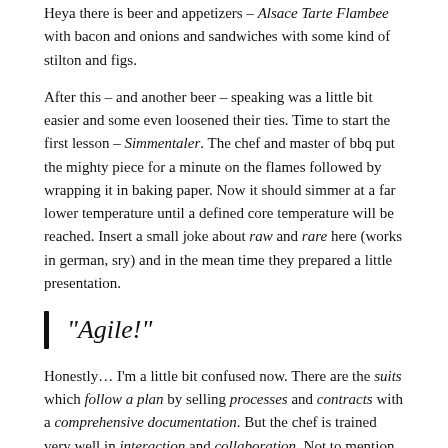Heya there is beer and appetizers – Alsace Tarte Flambee with bacon and onions and sandwiches with some kind of stilton and figs.
After this – and another beer – speaking was a little bit easier and some even loosened their ties. Time to start the first lesson – Simmentaler. The chef and master of bbq put the mighty piece for a minute on the flames followed by wrapping it in baking paper. Now it should simmer at a far lower temperature until a defined core temperature will be reached. Insert a small joke about raw and rare here (works in german, sry) and in the mean time they prepared a little presentation.
“Agile!”
Honestly... I’m a little bit confused now. There are the suits which follow a plan by selling processes and contracts with a comprehensive documentation. But the chef is trained very well in interaction and collaboration. Not to mention of the working products. Wait... we have to respond to change... steak is ready.